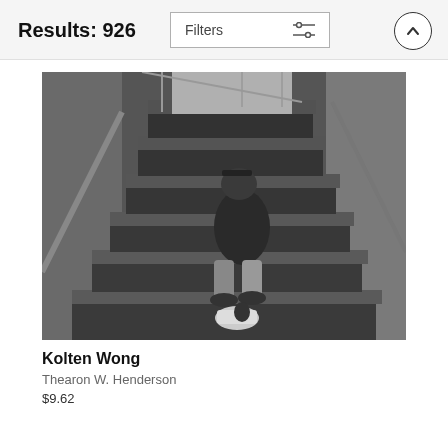Results: 926
Filters
[Figure (photo): Black and white photograph of a person wearing a cap and sitting on concrete stadium stairs, holding a glove or bag. A plastic bag with items sits on the step below.]
Kolten Wong
Thearon W. Henderson
$9.62